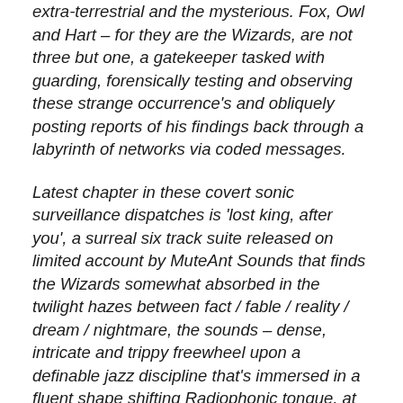extra-terrestrial and the mysterious. Fox, Owl and Hart — for they are the Wizards, are not three but one, a gatekeeper tasked with guarding, forensically testing and observing these strange occurrence's and obliquely posting reports of his findings back through a labyrinth of networks via coded messages.
Latest chapter in these covert sonic surveillance dispatches is 'lost king, after you', a surreal six track suite released on limited account by MuteAnt Sounds that finds the Wizards somewhat absorbed in the twilight hazes between fact / fable / reality / dream / nightmare, the sounds – dense, intricate and trippy freewheel upon a definable jazz discipline that's immersed in a fluent shape shifting Radiophonic tongue, at times isolationist in both feel and texture, there's an outer worldly accent running amok between the stuttering rhythms and the crooked